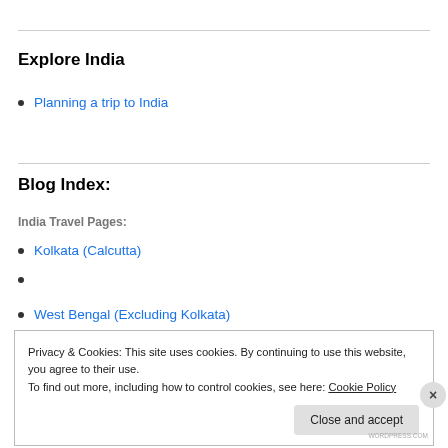Explore India
Planning a trip to India
Blog Index:
India Travel Pages:
Kolkata (Calcutta)
West Bengal (Excluding Kolkata)
Privacy & Cookies: This site uses cookies. By continuing to use this website, you agree to their use.
To find out more, including how to control cookies, see here: Cookie Policy
Close and accept